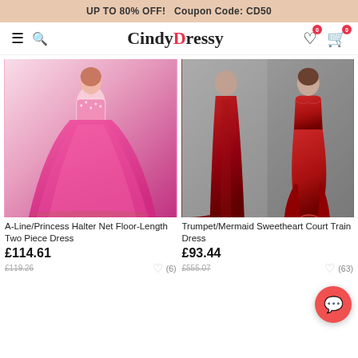UP TO 80% OFF!   Coupon Code: CD50
[Figure (logo): CindyDressy website header with hamburger menu, search icon, brand logo 'CindyDressy', wishlist and cart icons with 0 badges]
[Figure (photo): A-Line/Princess dress product photo: model wearing hot pink/fuchsia two-piece halter ballgown with beaded crop top and voluminous tulle skirt]
A-Line/Princess Halter Net Floor-Length Two Piece Dress
£114.61
£119.26
(6)
[Figure (photo): Trumpet/Mermaid dress product photo: two views of model wearing deep red/crimson strapless satin mermaid gown with sweetheart neckline and court train]
Trumpet/Mermaid Sweetheart Court Train Dress
£93.44
£555.07
(63)